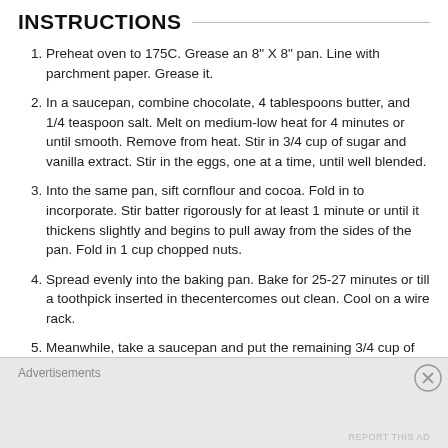INSTRUCTIONS
Preheat oven to 175C. Grease an 8" X 8" pan. Line with parchment paper. Grease it.
In a saucepan, combine chocolate, 4 tablespoons butter, and 1/4 teaspoon salt. Melt on medium-low heat for 4 minutes or until smooth. Remove from heat. Stir in 3/4 cup of sugar and vanilla extract. Stir in the eggs, one at a time, until well blended.
Into the same pan, sift cornflour and cocoa. Fold in to incorporate. Stir batter rigorously for at least 1 minute or until it thickens slightly and begins to pull away from the sides of the pan. Fold in 1 cup chopped nuts.
Spread evenly into the baking pan. Bake for 25-27 minutes or till a toothpick inserted in thecentercomes out clean. Cool on a wire rack.
Meanwhile, take a saucepan and put the remaining 3/4 cup of sugar into it along with corn syrup and 1/4 teaspoon salt. Cook
Advertisements